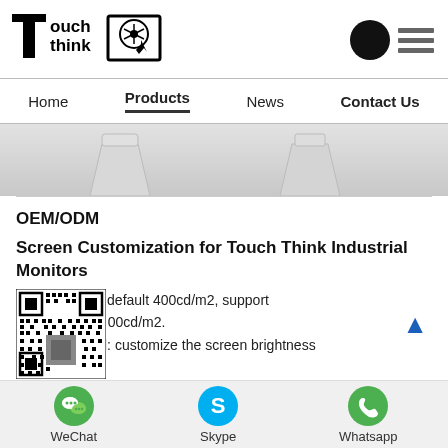[Figure (logo): Touch Think company logo with stylized T and hand-with-cursor icon inside a box]
[Figure (other): Hamburger menu icon with black circle and three horizontal lines]
Home | Products | News | Contact Us
[Figure (photo): Hero banner showing tops of industrial monitor stands on gray gradient background]
OEM/ODM
Screen Customization for Touch Think Industrial Monitors
[Figure (other): QR code for WeChat contact]
1. High brightness: default 400cd/m2, support customization to 1000cd/m2.
2. Photo sensor head: customize the screen brightness
WeChat   Skype   Whatsapp